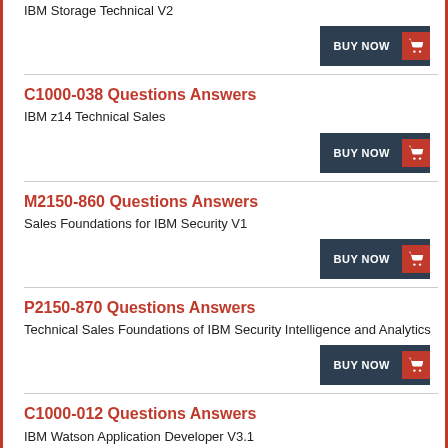IBM Storage Technical V2
C1000-038 Questions Answers
IBM z14 Technical Sales
M2150-860 Questions Answers
Sales Foundations for IBM Security V1
P2150-870 Questions Answers
Technical Sales Foundations of IBM Security Intelligence and Analytics
C1000-012 Questions Answers
IBM Watson Application Developer V3.1
C1000-041 Questions Answers